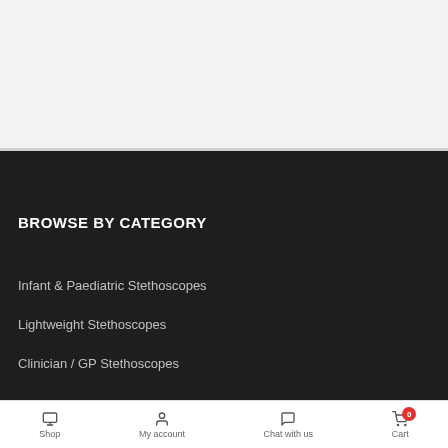BROWSE BY CATEGORY
Infant & Paediatric Stethoscopes
Lightweight Stethoscopes
Clinician / GP Stethoscopes
Shop  My account  Chat with us  Cart  0